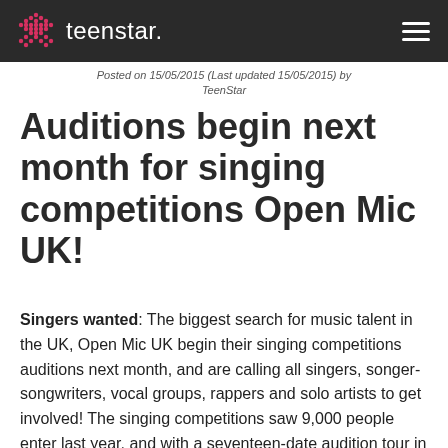teenstar.
Posted on 15/05/2015 (Last updated 15/05/2015) by TeenStar
Auditions begin next month for singing competitions Open Mic UK!
Singers wanted: The biggest search for music talent in the UK, Open Mic UK begin their singing competitions auditions next month, and are calling all singers, songer-songwriters, vocal groups, rappers and solo artists to get involved! The singing competitions saw 9,000 people enter last year, and with a seventeen-date audition tour in place for this year